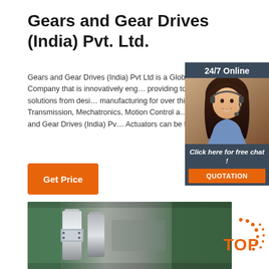Gears and Gear Drives (India) Pvt. Ltd.
Gears and Gear Drives (India) Pvt Ltd is a Global Engineering Company that is innovatively engaged in providing total engineering solutions from design to manufacturing for over thirty years in the areas of Power Transmission, Mechatronics, Motion Control and Automation. Gears and Gear Drives (India) Pvt Ltd Actuators can be found in many ...
[Figure (other): Orange 'Get Price' button]
[Figure (other): 24/7 Online chat widget with headset woman photo, 'Click here for free chat!' text, and orange QUOTATION button]
[Figure (photo): Close-up photo of industrial gear shafts and mechanical components with green painted machinery in background]
[Figure (logo): Orange dotted TOP logo in bottom right corner]